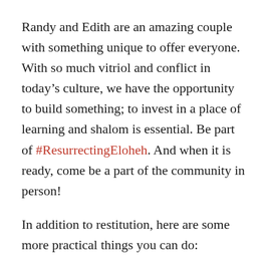Randy and Edith are an amazing couple with something unique to offer everyone. With so much vitriol and conflict in today's culture, we have the opportunity to build something; to invest in a place of learning and shalom is essential. Be part of #ResurrectingEloheh. And when it is ready, come be a part of the community in person!
In addition to restitution, here are some more practical things you can do:
Who are you listening to? Books, music, films, podcasts, articles…if you're white, going with the flow is to mostly listen to white content. Change up your personal media consumption with purpose, and process